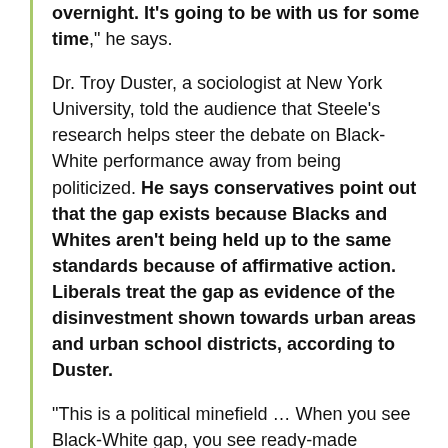overnight. It's going to be with us for some time," he says.
Dr. Troy Duster, a sociologist at New York University, told the audience that Steele's research helps steer the debate on Black-White performance away from being politicized. He says conservatives point out that the gap exists because Blacks and Whites aren't being held up to the same standards because of affirmative action. Liberals treat the gap as evidence of the disinvestment shown towards urban areas and urban school districts, according to Duster.
"This is a political minefield … When you see Black-White gap, you see ready-made answers," Duster says.
2/3/06 @ 9:13 PM